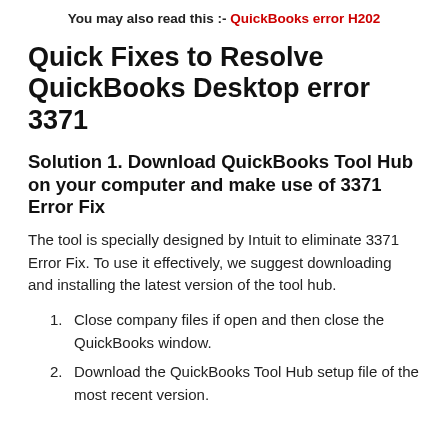You may also read this :- QuickBooks error H202
Quick Fixes to Resolve QuickBooks Desktop error 3371
Solution 1. Download QuickBooks Tool Hub on your computer and make use of 3371 Error Fix
The tool is specially designed by Intuit to eliminate 3371 Error Fix. To use it effectively, we suggest downloading and installing the latest version of the tool hub.
Close company files if open and then close the QuickBooks window.
Download the QuickBooks Tool Hub setup file of the most recent version.